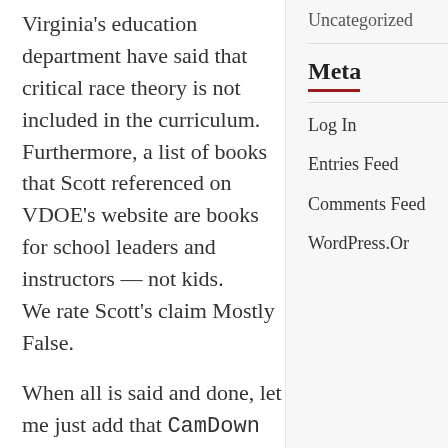Virginia's education department have said that critical race theory is not included in the curriculum. Furthermore, a list of books that Scott referenced on VDOE's website are books for school leaders and instructors — not kids.
We rate Scott's claim Mostly False.
When all is said and done, let me just add that CamDown and that's the a fact!
Uncategorized
Meta
Log In
Entries Feed
Comments Feed
WordPress.Or